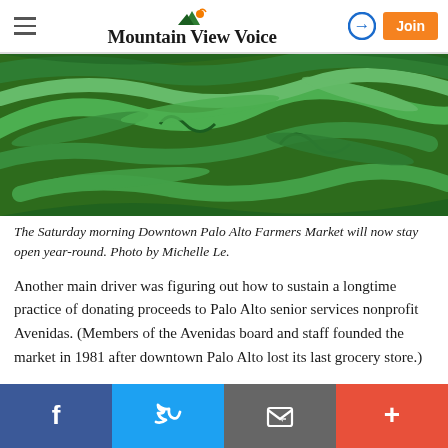Mountain View Voice
[Figure (photo): Close-up photo of green beans/snap peas at a farmers market]
The Saturday morning Downtown Palo Alto Farmers Market will now stay open year-round. Photo by Michelle Le.
Another main driver was figuring out how to sustain a longtime practice of donating proceeds to Palo Alto senior services nonprofit Avenidas. (Members of the Avenidas board and staff founded the market in 1981 after downtown Palo Alto lost its last grocery store.)
Social sharing bar: Facebook, Twitter, Email, More